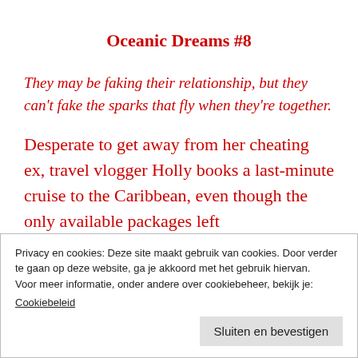Oceanic Dreams #8
They may be faking their relationship, but they can't fake the sparks that fly when they're together.
Desperate to get away from her cheating ex, travel vlogger Holly books a last-minute cruise to the Caribbean, even though the only available packages left
Privacy en cookies: Deze site maakt gebruik van cookies. Door verder te gaan op deze website, ga je akkoord met het gebruik hiervan.
Voor meer informatie, onder andere over cookiebeheer, bekijk je:
Cookiebeleid
Sluiten en bevestigen